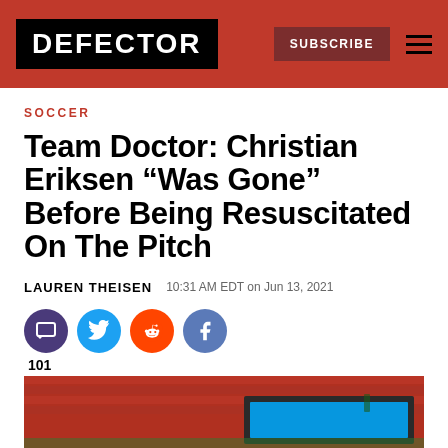DEFECTOR | SUBSCRIBE
SOCCER
Team Doctor: Christian Eriksen “Was Gone” Before Being Resuscitated On The Pitch
LAUREN THEISEN   10:31 AM EDT on Jun 13, 2021
[Figure (other): Social sharing icons: comment (purple), Twitter (blue), Reddit (orange), Facebook (blue), with comment count 101]
[Figure (photo): Partial view of a stadium with red seats and a large scoreboard/screen showing a blue display, likely from Euro 2021 tournament.]